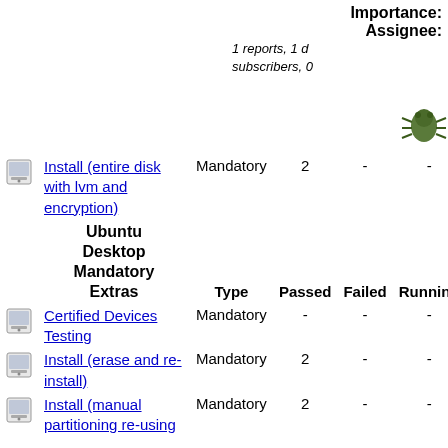Importance: Assignee: 1 reports, 1 d subscribers, 0
|  | Ubuntu Desktop Mandatory Extras | Type | Passed | Failed | Running | Bugs |
| --- | --- | --- | --- | --- | --- | --- |
| [icon] | Install (entire disk with lvm and encryption) | Mandatory | 2 | - | - |  |
|  | Ubuntu Desktop Mandatory Extras | Type | Passed | Failed | Running | Bugs |
| [icon] | Certified Devices Testing | Mandatory | - | - | - |  |
| [icon] | Install (erase and re-install) | Mandatory | 2 | - | - |  |
| [icon] | Install (manual partitioning re-using…) | Mandatory | 2 | - | - |  |